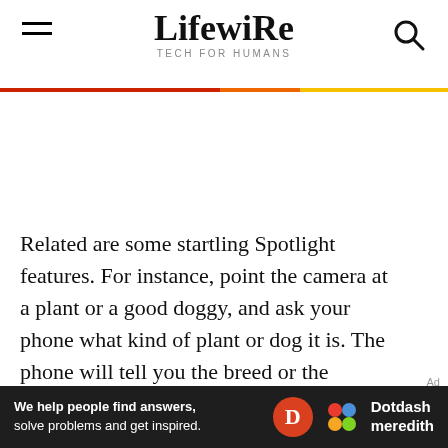Lifewire — TECH FOR HUMANS
Related are some startling Spotlight features. For instance, point the camera at a plant or a good doggy, and ask your phone what kind of plant or dog it is. The phone will tell you the breed or the species, which is pretty wild. Just don't use it for checking whether mushrooms are safe to eat. Even humans can be easily
[Figure (logo): Dotdash Meredith advertisement banner at bottom of page. Dark background with text 'We help people find answers, solve problems and get inspired.' and Dotdash Meredith logo.]